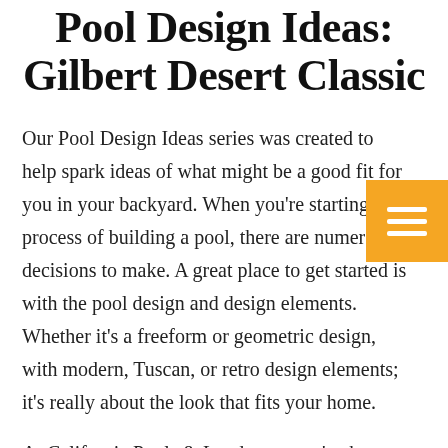Pool Design Ideas: Gilbert Desert Classic
Our Pool Design Ideas series was created to help spark ideas of what might be a good fit for you in your backyard. When you're starting the process of building a pool, there are numerous decisions to make. A great place to get started is with the pool design and design elements. Whether it's a freeform or geometric design, with modern, Tuscan, or retro design elements; it's really about the look that fits your home.
At California Pools & Landscape, we've been creating custom pools in the valley of the sun for more than 34 years. We've designed hundreds of retro pools of